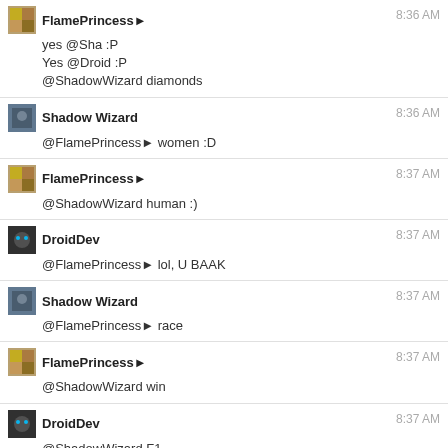FlamePrincess♠ 8:36 AM
yes @Sha :P
Yes @Droid :P
@ShadowWizard diamonds
Shadow Wizard 8:36 AM
@FlamePrincess♠ women :D
FlamePrincess♠ 8:37 AM
@ShadowWizard human :)
DroidDev 8:37 AM
@FlamePrincess♠ lol, U BAAK
Shadow Wizard 8:37 AM
@FlamePrincess♠ race
FlamePrincess♠ 8:37 AM
@ShadowWizard win
DroidDev 8:37 AM
@ShadowWizard F1
Shadow Wizard 8:38 AM
hurry, morning train in Tavern
before Smokey will ruin it